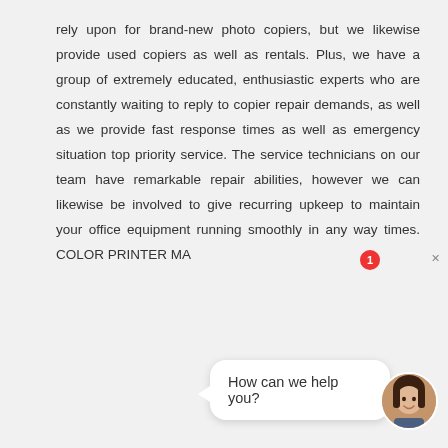rely upon for brand-new photo copiers, but we likewise provide used copiers as well as rentals. Plus, we have a group of extremely educated, enthusiastic experts who are constantly waiting to reply to copier repair demands, as well as we provide fast response times as well as emergency situation top priority service. The service technicians on our team have remarkable repair abilities, however we can likewise be involved to give recurring upkeep to maintain your office equipment running smoothly in any way times. COLOR PRINTER MA
[Figure (photo): Advertisement image showing copiers and laser printers with text 'COPIERS & LASER PRINTERS' in red bold text, with photos of multifunction office copier machines (a large blue/white floor-standing copier and a smaller desktop all-in-one printer). A chat widget overlays the bottom with a speech bubble saying 'How can we help you?' and a female avatar.]